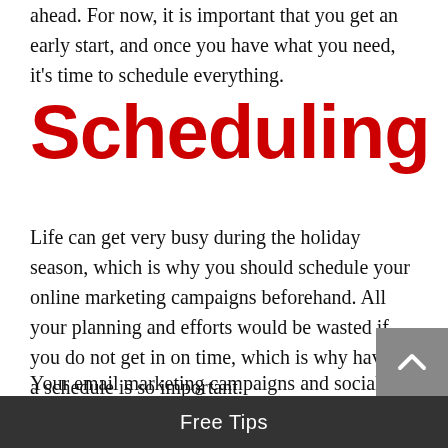ahead. For now, it is important that you get an early start, and once you have what you need, it's time to schedule everything.
Scheduling
Life can get very busy during the holiday season, which is why you should schedule your online marketing campaigns beforehand. All your planning and efforts would be wasted if you do not get in on time, which is why having a schedule is so important.
Your email marketing campaigns and social media campaigns can also be scheduled to run
Free Tips